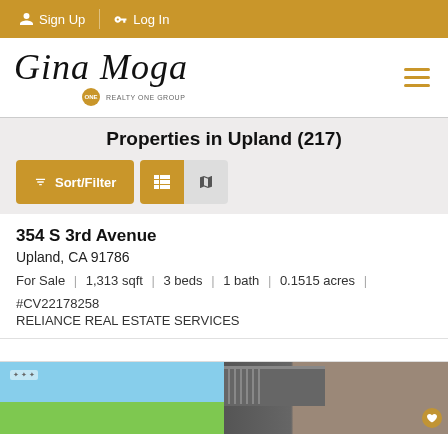Sign Up | Log In
[Figure (logo): Gina Moga realty logo with script text and Realty One Group badge]
Properties in Upland (217)
Sort/Filter [list view] [map view]
354 S 3rd Avenue
Upland, CA 91786
For Sale | 1,313 sqft | 3 beds | 1 bath | 0.1515 acres |
#CV22178258
RELIANCE REAL ESTATE SERVICES
[Figure (photo): Bottom photo strip showing two property images side by side]